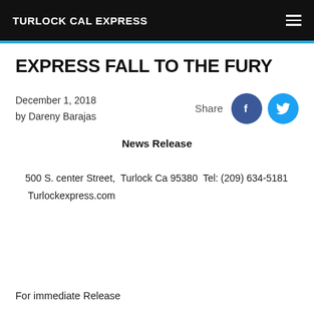TURLOCK CAL EXPRESS
EXPRESS FALL TO THE FURY
December 1, 2018
by Dareny Barajas
Share
News Release
500 S. center Street,  Turlock Ca 95380  Tel: (209) 634-5181
Turlockexpress.com
For immediate Release